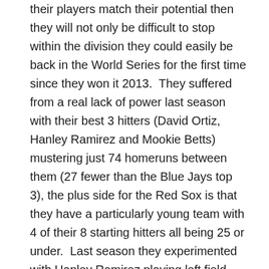their players match their potential then they will not only be difficult to stop within the division they could easily be back in the World Series for the first time since they won it 2013.  They suffered from a real lack of power last season with their best 3 hitters (David Ortiz, Hanley Ramirez and Mookie Betts) mustering just 74 homeruns between them (27 fewer than the Blue Jays top 3), the plus side for the Red Sox is that they have a particularly young team with 4 of their 8 starting hitters all being 25 or under.  Last season they experimented with Hanley Ramirez playing left field where he ended the season with the lowest defensive ranking at that position in the league, so this year they have resolved to move him to a different position (1st base where he's never played before) giving fans an even more terrible) f